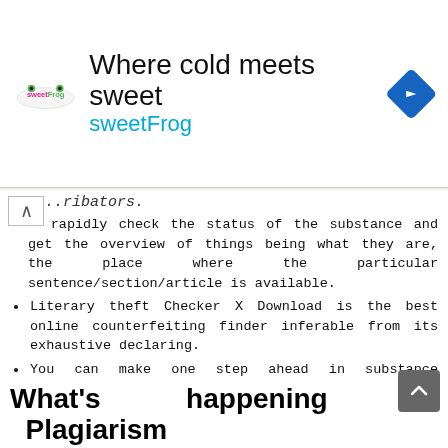[Figure (other): SweetFrog advertisement banner with logo, tagline 'Where cold meets sweet', brand name 'sweetFrog', and a blue navigation arrow icon]
...ribators. rapidly check the status of the substance and get the overview of things being what they are, the place where the particular sentence/section/article is available.
Literary theft Checker X Download is the best online counterfeiting finder inferable from its exhaustive declaring.
You can make one step ahead in substance inspecting by provoking the main objective of the substance.
At the point when you present your made work for checking, it shows you a few URLs that have undefined substance from your submitted material.
This infers you can without a very remarkable stretch recognize if the data is imitated.
Literary theft Checker X Crack
What's happening in Plagiarism